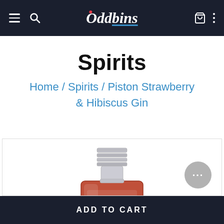Oddbins – navigation bar with menu, search, cart, and more options
Spirits
Home / Spirits / Piston Strawberry & Hibiscus Gin
[Figure (photo): Product photo of Piston Strawberry & Hibiscus Gin bottle, showing the silver metallic cap/neck and the amber-red liquid in a flat square bottle, partially cropped]
ADD TO CART